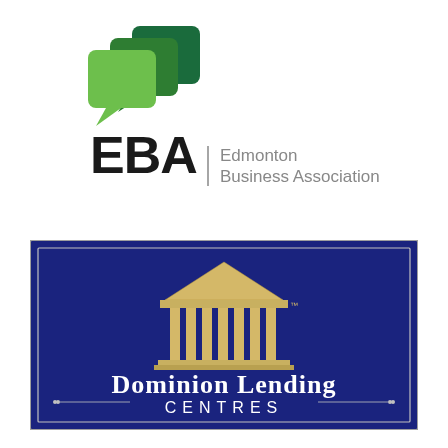[Figure (logo): EBA Edmonton Business Association logo with overlapping green speech bubble shapes and bold black EBA text with a vertical divider line and gray Edmonton Business Association text]
[Figure (logo): Dominion Lending Centres logo: dark navy blue rectangular background with a gold classical temple/columns illustration, white serif text reading Dominion Lending Centres, with a thin inner border]